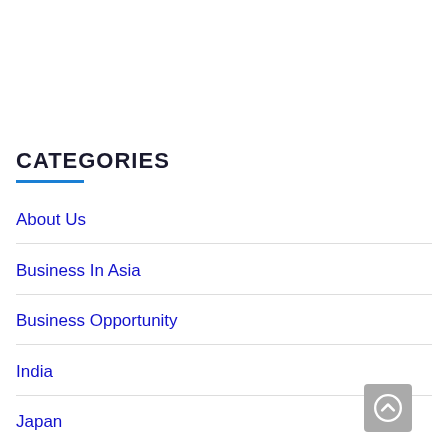CATEGORIES
About Us
Business In Asia
Business Opportunity
India
Japan